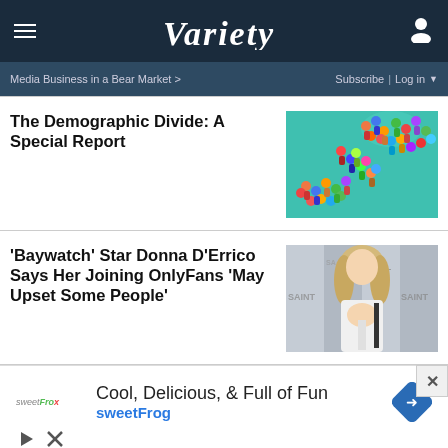VARIETY
Media Business in a Bear Market >
Subscribe | Log in
The Demographic Divide: A Special Report
[Figure (illustration): Colorful illustration of diverse crowd of people on teal background]
'Baywatch' Star Donna D'Errico Says Her Joining OnlyFans 'May Upset Some People'
[Figure (photo): Blonde woman in white outfit at SAINT event]
[Figure (infographic): Advertisement: Cool, Delicious, & Full of Fun - sweetFrog]
Cool, Delicious, & Full of Fun
sweetFrog